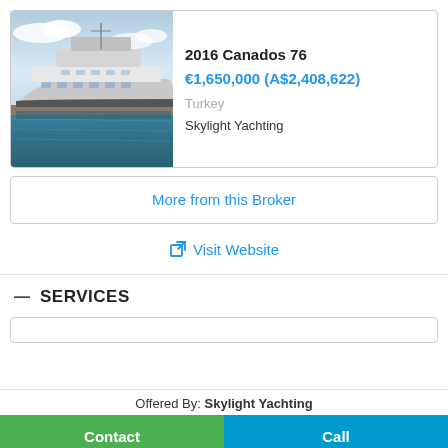[Figure (photo): Photo of a large white motor yacht (Canados 76) moored at a dock with blue sky and water visible]
2016 Canados 76
€1,650,000 (A$2,408,622)
Turkey
Skylight Yachting
More from this Broker
Visit Website
— SERVICES
Offered By: Skylight Yachting
Contact
Call